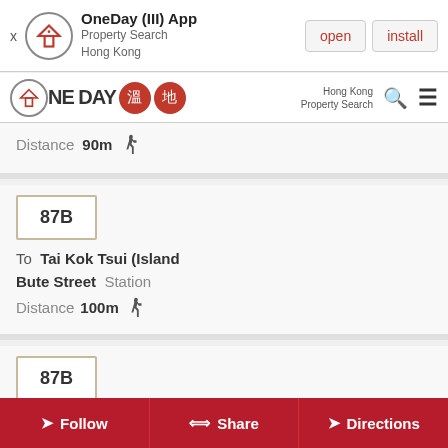[Figure (screenshot): App install banner for OneDay (III) App - Property Search Hong Kong, with open and install buttons]
[Figure (logo): OneDay property search Hong Kong navigation bar with logo, search and menu icons]
Distance 90m [walking icon]
87B
To Tai Kok Tsui (Island
Bute Street Station
Distance 100m [walking icon]
87B
To Sun Tin Wai
Follow  Share  Directions